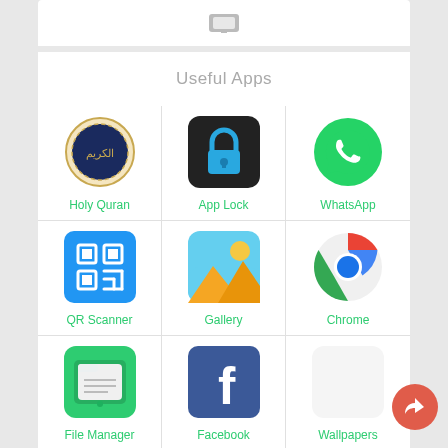Useful Apps
[Figure (screenshot): Grid of app icons: Holy Quran, App Lock, WhatsApp, QR Scanner, Gallery, Chrome, File Manager, Facebook, Wallpapers, ES Explorer, MX Player, Hide Media]
[Figure (illustration): Share/forward button (orange circle with arrow icon) in bottom right corner]